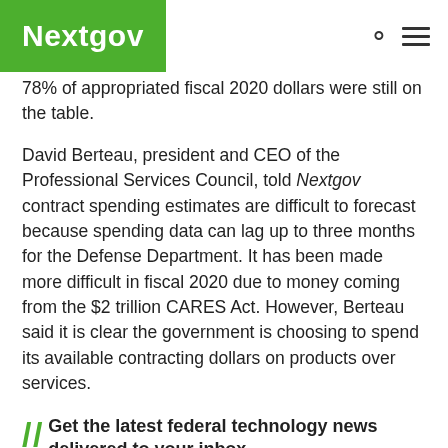Nextgov
78% of appropriated fiscal 2020 dollars were still on the table.
David Berteau, president and CEO of the Professional Services Council, told Nextgov contract spending estimates are difficult to forecast because spending data can lag up to three months for the Defense Department. It has been made more difficult in fiscal 2020 due to money coming from the $2 trillion CARES Act. However, Berteau said it is clear the government is choosing to spend its available contracting dollars on products over services.
Get the latest federal technology news delivered to your inbox.
Enter your email
"Ships and planes are driving an increase in spending at [the